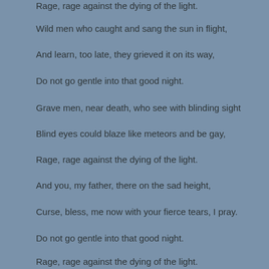Rage, rage against the dying of the light.
Wild men who caught and sang the sun in flight,
And learn, too late, they grieved it on its way,
Do not go gentle into that good night.
Grave men, near death, who see with blinding sight
Blind eyes could blaze like meteors and be gay,
Rage, rage against the dying of the light.
And you, my father, there on the sad height,
Curse, bless, me now with your fierce tears, I pray.
Do not go gentle into that good night.
Rage, rage against the dying of the light.